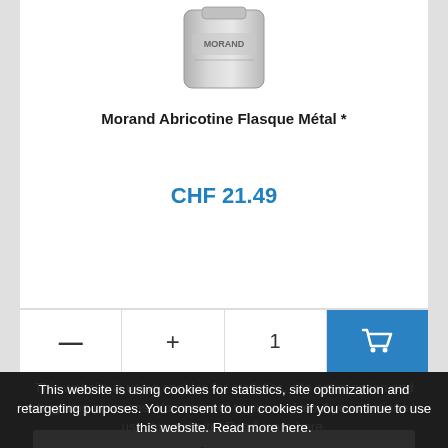[Figure (photo): Metal flask product image (Morand brand) shown from above, silver/metallic color, partially cropped at top]
Morand Abricotine Flasque Métal *
CHF 21.49
— + 1 [cart icon]
This website is using cookies for statistics, site optimization and retargeting purposes. You consent to our cookies if you continue to use this website. Read more here.
Accept